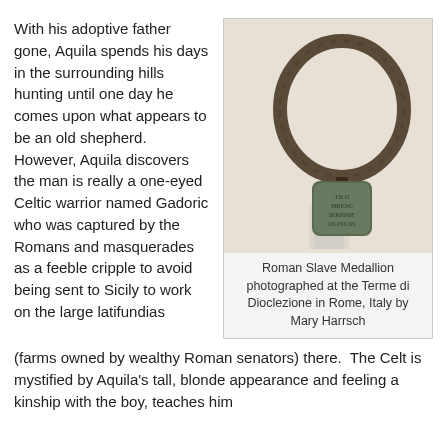With his adoptive father gone, Aquila spends his days in the surrounding hills hunting until one day he comes upon what appears to be an old shepherd.  However, Aquila discovers the man is really a one-eyed Celtic warrior named Gadoric who was captured by the Romans and masquerades as a feeble cripple to avoid being sent to Sicily to work on the large latifundias (farms owned by wealthy Roman senators) there.  The Celt is mystified by Aquila's tall, blonde appearance and feeling a kinship with the boy, teaches him
[Figure (photo): A Roman slave medallion — a large metal ring (collar) with an inscribed rectangular tag hanging from it, displayed on a clear acrylic stand.]
Roman Slave Medallion photographed at the Terme di Dioclezione in Rome, Italy by Mary Harrsch